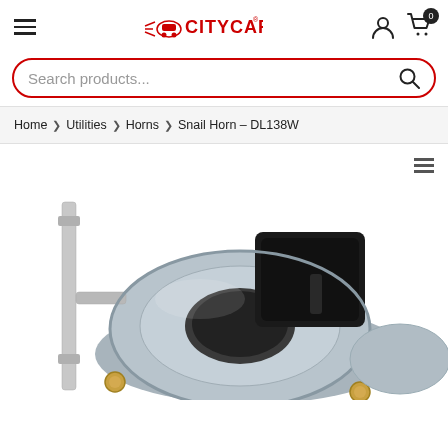[Figure (logo): CityCAR logo with car icon and red text]
Search products...
Home > Utilities > Horns > Snail Horn – DL138W
[Figure (photo): Close-up photo of a snail car horn (DL138W) showing black trumpet and silver/chrome metal body with mounting bracket]